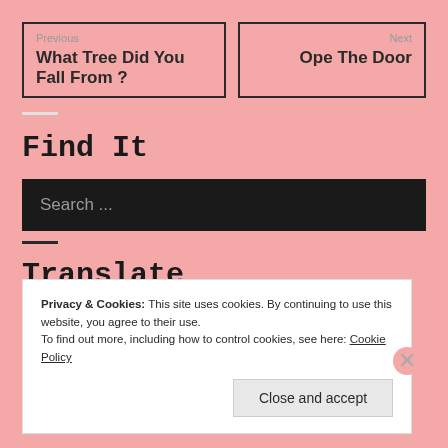Previous
What Tree Did You Fall From ?
Next
Ope The Door
Find It
Search ...
Translate
Privacy & Cookies: This site uses cookies. By continuing to use this website, you agree to their use.
To find out more, including how to control cookies, see here: Cookie Policy
Close and accept